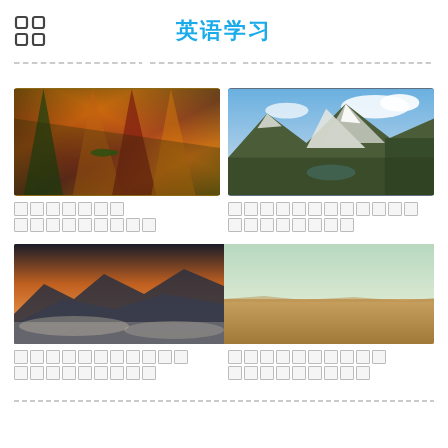英语学习
[Figure (photo): Close-up photo of colorful tropical plant leaves with a lizard]
[Figure (photo): Mountain landscape with snow-capped peaks, river valley and forests]
□□□□□□□ □□□□□□□□□
□□□□□□□□□□□□ □□□□□□□□
[Figure (photo): Misty mountain range at sunset with dramatic clouds below peaks]
[Figure (photo): Desert landscape with pale sky and flat arid terrain]
□□□□□□□□□□□ □□□□□□□□□
□□□□□□□□□□ □□□□□□□□□